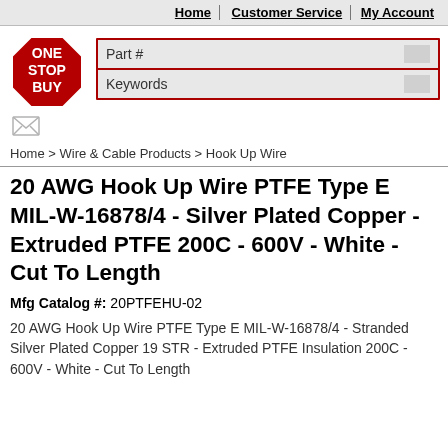Home | Customer Service | My Account
[Figure (logo): One Stop Buy red octagon stop-sign logo with white text reading ONE STOP BUY]
Part #
Keywords
Home > Wire & Cable Products > Hook Up Wire
20 AWG Hook Up Wire PTFE Type E MIL-W-16878/4 - Silver Plated Copper - Extruded PTFE 200C - 600V - White - Cut To Length
Mfg Catalog #: 20PTFEHU-02
20 AWG Hook Up Wire PTFE Type E MIL-W-16878/4 - Stranded Silver Plated Copper 19 STR - Extruded PTFE Insulation 200C - 600V - White - Cut To Length